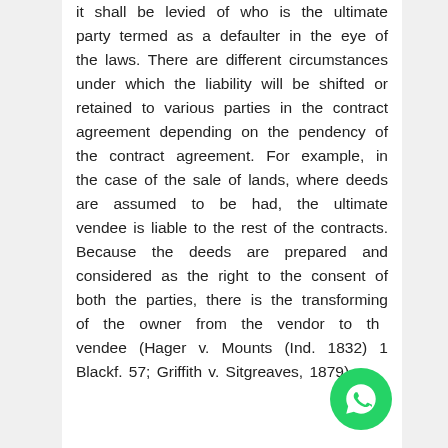it shall be levied of who is the ultimate party termed as a defaulter in the eye of the laws. There are different circumstances under which the liability will be shifted or retained to various parties in the contract agreement depending on the pendency of the contract agreement. For example, in the case of the sale of lands, where deeds are assumed to be had, the ultimate vendee is liable to the rest of the contracts. Because the deeds are prepared and considered as the right to the consent of both the parties, there is the transforming of the owner from the vendor to the vendee (Hager v. Mounts (Ind. 1832) 1 Blackf. 57; Griffith v. Sitgreaves, 1879).